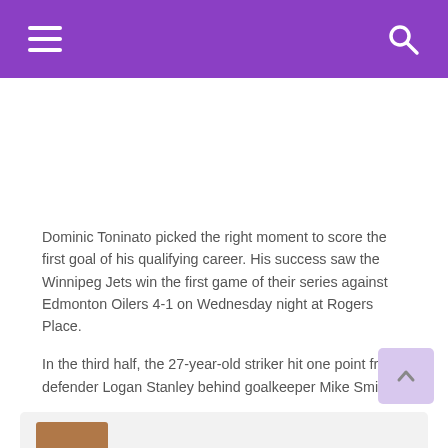Navigation header with hamburger menu and search icon
Dominic Toninato picked the right moment to score the first goal of his qualifying career. His success saw the Winnipeg Jets win the first game of their series against Edmonton Oilers 4-1 on Wednesday night at Rogers Place.
In the third half, the 27-year-old striker hit one point from defender Logan Stanley behind goalkeeper Mike Smith.
La Dose
Tour d'horizon des matchs de sér…